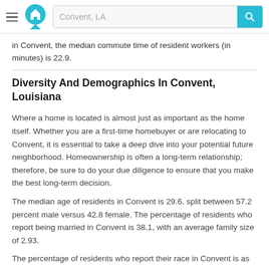Convent, LA
in Convent, the median commute time of resident workers (in minutes) is 22.9.
Diversity And Demographics In Convent, Louisiana
Where a home is located is almost just as important as the home itself. Whether you are a first-time homebuyer or are relocating to Convent, it is essential to take a deep dive into your potential future neighborhood. Homeownership is often a long-term relationship; therefore, be sure to do your due diligence to ensure that you make the best long-term decision.
The median age of residents in Convent is 29.6, split between 57.2 percent male versus 42.8 female. The percentage of residents who report being married in Convent is 38.1, with an average family size of 2.93.
The percentage of residents who report their race in Convent is as follows: